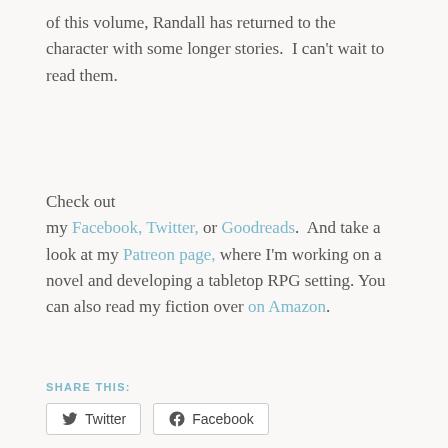of this volume, Randall has returned to the character with some longer stories.  I can't wait to read them.
Check out my Facebook, Twitter, or Goodreads.  And take a look at my Patreon page, where I'm working on a novel and developing a tabletop RPG setting. You can also read my fiction over on Amazon.
SHARE THIS:
Twitter  Facebook